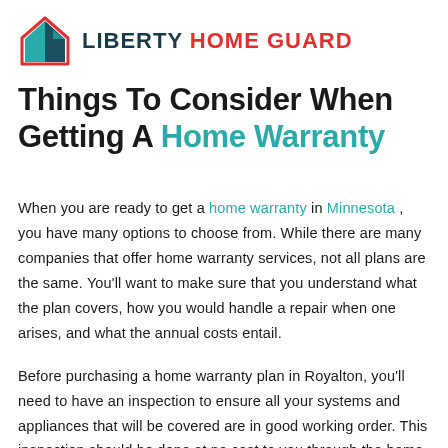[Figure (logo): Liberty Home Guard logo — house icon with teal and red colors, followed by brand name LIBERTY HOME GUARD in bold text]
Things To Consider When Getting A Home Warranty
When you are ready to get a home warranty in Minnesota, you have many options to choose from. While there are many companies that offer home warranty services, not all plans are the same. You'll want to make sure that you understand what the plan covers, how you would handle a repair when one arises, and what the annual costs entail.
Before purchasing a home warranty plan in Royalton, you'll need to have an inspection to ensure all your systems and appliances that will be covered are in good working order. This inspection should be done at no cost to you through the home warranty company, and to